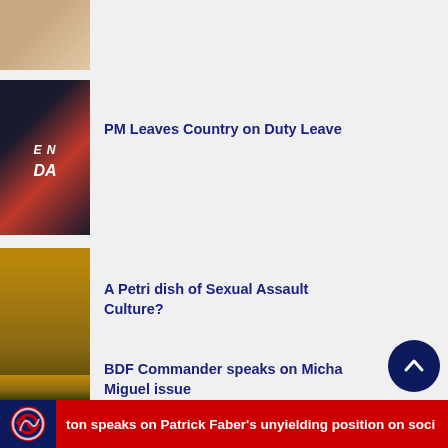[Figure (photo): Partial thumbnail of a news item, showing blurred hand/food image]
[Figure (photo): News thumbnail with dark background, red banner, white bold text 'E NEWS DA' stylized logo]
PM Leaves Country on Duty Leave
[Figure (photo): Thumbnail showing military officer in uniform, blurred]
A Petri dish of Sexual Assault Culture?
[Figure (photo): Thumbnail showing military officer, blurred]
BDF Commander speaks on Micha Miguel issue
ton speaks on Patrick Faber's unyielding position on soci…